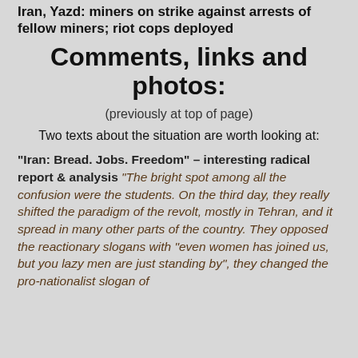Iran, Yazd: miners on strike against arrests of fellow miners; riot cops deployed
Comments, links and photos:
(previously at top of page)
Two texts about the situation are worth looking at:
“Iran: Bread. Jobs. Freedom” – interesting radical report & analysis “The bright spot among all the confusion were the students. On the third day, they really shifted the paradigm of the revolt, mostly in Tehran, and it spread in many other parts of the country. They opposed the reactionary slogans with “even women has joined us, but you lazy men are just standing by”, they changed the pro-nationalist slogan of